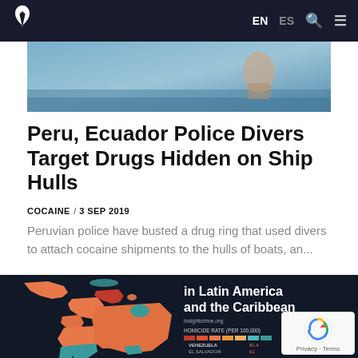InSight Crime — EN ES
[Figure (photo): Hero image showing a person in water near a blue boat hull]
Peru, Ecuador Police Divers Target Drugs Hidden on Ship Hulls
COCAINE / 3 SEP 2019
Peruvian police have busted a drug ring that used divers to attach cocaine shipments to the hulls of boats, an...
[Figure (map): Dark-background map of Latin America and the Caribbean showing homicide rates by country, with red/orange/teal color coding and a bar chart of rates by country]